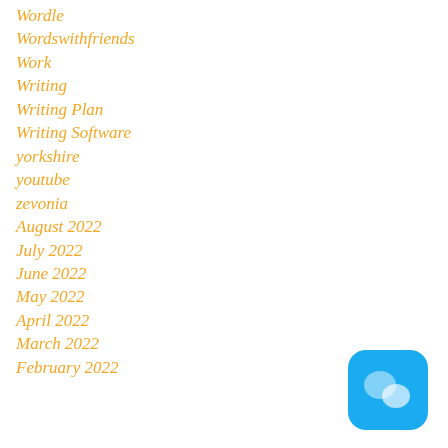Wordle
Wordswithfriends
Work
Writing
Writing Plan
Writing Software
yorkshire
youtube
zevonia
August 2022
July 2022
June 2022
May 2022
April 2022
March 2022
February 2022
[Figure (logo): Blue rounded square chat/messaging app icon with two overlapping speech bubble shapes in lighter blue]